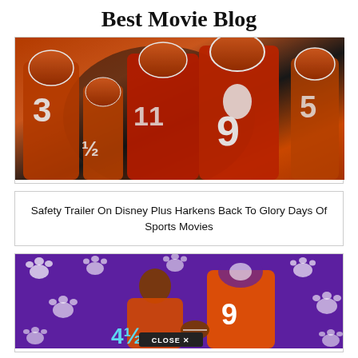Best Movie Blog
[Figure (photo): Clemson football players in orange jerseys and helmets, player #9 prominent in the center, with players #3, #11, #5, and #½ visible]
Safety Trailer On Disney Plus Harkens Back To Glory Days Of Sports Movies
[Figure (photo): Purple background with white paw print pattern, two Clemson players in orange jerseys (#9 and #41½), with a CLOSE X button overlay at the bottom]